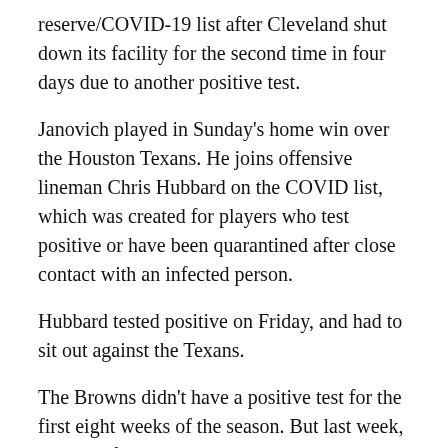reserve/COVID-19 list after Cleveland shut down its facility for the second time in four days due to another positive test.
Janovich played in Sunday's home win over the Houston Texans. He joins offensive lineman Chris Hubbard on the COVID list, which was created for players who test positive or have been quarantined after close contact with an infected person.
Hubbard tested positive on Friday, and had to sit out against the Texans.
The Browns didn't have a positive test for the first eight weeks of the season. But last week, the team first placed quarterback Baker Mayfield on the COVID list after he had contact with a staff member who tested positive.